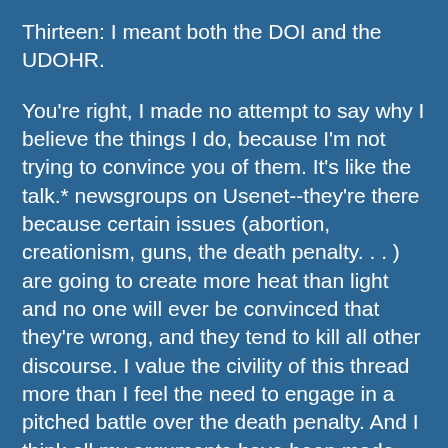Thirteen: I meant both the DOI and the UDOHR.
You're right, I made no attempt to say why I believe the things I do, because I'm not trying to convince you of them. It's like the talk.* newsgroups on Usenet--they're there because certain issues (abortion, creationism, guns, the death penalty. . . ) are going to create more heat than light and no one will ever be convinced that they're wrong, and they tend to kill all other discourse. I value the civility of this thread more than I feel the need to engage in a pitched battle over the death penalty. And I think all my arguments have been made already, and better than I could make them, in other forums. So I'd like a truce on the issue if that's OK. I gave my credo and you gave yours, but going any further seems like a bad idea.
On the other hand, both the constitutional issues and the libertarian angle strike me as really interesting. . . but I don't know if I have anything smart to say on them.